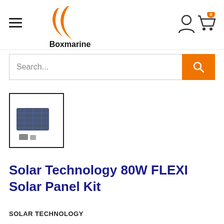Boxmarine
[Figure (screenshot): Product thumbnail image of Solar Technology 80W FLEXI Solar Panel Kit showing a flexible solar panel and components]
Solar Technology 80W FLEXI Solar Panel Kit
SOLAR TECHNOLOGY